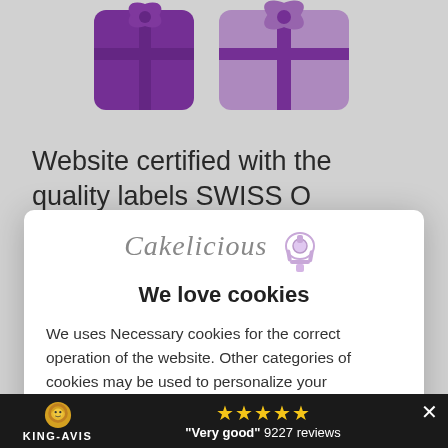[Figure (illustration): Two gift boxes with purple ribbons/bows on a white background, partially visible at top]
Website certified with the quality labels SWISS O
[Figure (logo): Cakelicious logo with script text and a stand mixer illustration]
We love cookies
We uses Necessary cookies for the correct operation of the website. Other categories of cookies may be used to personalize your experience, to distribute personalized commercial offers or to carry out analyses to optimize our offer. Your consent can be withdrawn at any time via the link in our data protection policy.
Customize   More info   Accept
[Figure (logo): KING-AVIS logo with lion icon and five gold stars, 'Very good' 9227 reviews]